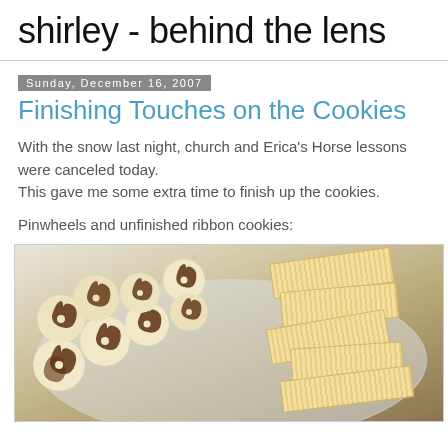shirley - behind the lens
Sunday, December 16, 2007
Finishing Touches on the Cookies
With the snow last night, church and Erica's Horse lessons were canceled today.
This gave me some extra time to finish up the cookies.
Pinwheels and unfinished ribbon cookies:
[Figure (photo): A plate with chocolate-vanilla pinwheel cookies on the left and rectangular ribbed/finger cookies on the right, viewed from above on a clear glass plate.]